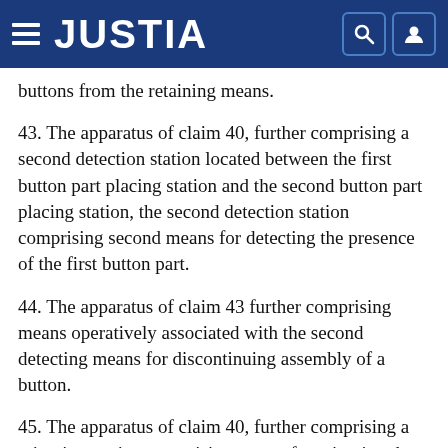JUSTIA
buttons from the retaining means.
43. The apparatus of claim 40, further comprising a second detection station located between the first button part placing station and the second button part placing station, the second detection station comprising second means for detecting the presence of the first button part.
44. The apparatus of claim 43 further comprising means operatively associated with the second detecting means for discontinuing assembly of a button.
45. The apparatus of claim 40, further comprising a crimping station comprising means for crimping the button parts, the crimping station located between the first button part placing station and the pressing station.